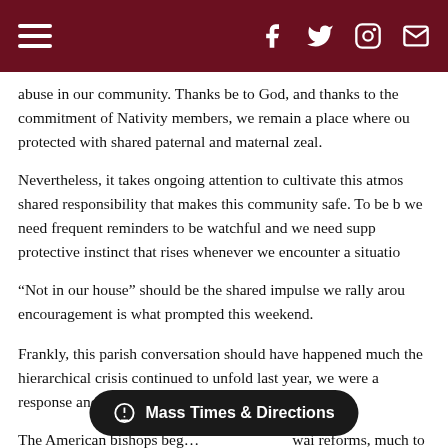[Navigation bar with hamburger menu and social icons: Facebook, Twitter, Instagram, Email]
abuse in our community. Thanks be to God, and thanks to the commitment of Nativity members, we remain a place where ou protected with shared paternal and maternal zeal.
Nevertheless, it takes ongoing attention to cultivate this atmos shared responsibility that makes this community safe. To be b we need frequent reminders to be watchful and we need supp protective instinct that rises whenever we encounter a situatio
“Not in our house” should be the shared impulse we rally arou encouragement is what prompted this weekend.
Frankly, this parish conversation should have happened much the hierarchical crisis continued to unfold last year, we were a response and a reform.
The American bishops beg… wai reforms, much to our disa… vis include the news that there are significant canonical reforms t